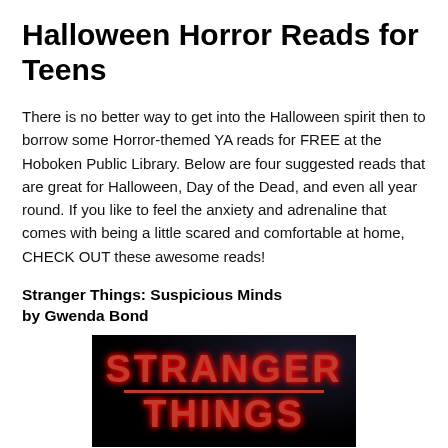Halloween Horror Reads for Teens
There is no better way to get into the Halloween spirit then to borrow some Horror-themed YA reads for FREE at the Hoboken Public Library. Below are four suggested reads that are great for Halloween, Day of the Dead, and even all year round. If you like to feel the anxiety and adrenaline that comes with being a little scared and comfortable at home, CHECK OUT these awesome reads!
Stranger Things: Suspicious Minds
by Gwenda Bond
[Figure (photo): Book cover of Stranger Things: Suspicious Minds showing the red Stranger Things logo on a dark background]